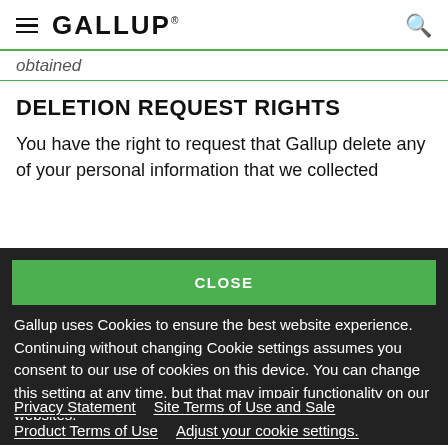GALLUP
obtained
DELETION REQUEST RIGHTS
You have the right to request that Gallup delete any of your personal information that we collected
CLOSE
Gallup uses Cookies to ensure the best website experience. Continuing without changing Cookie settings assumes you consent to our use of cookies on this device. You can change this setting at any time, but that may impair functionality on our websites.
Privacy Statement   Site Terms of Use and Sale
Product Terms of Use   Adjust your cookie settings.